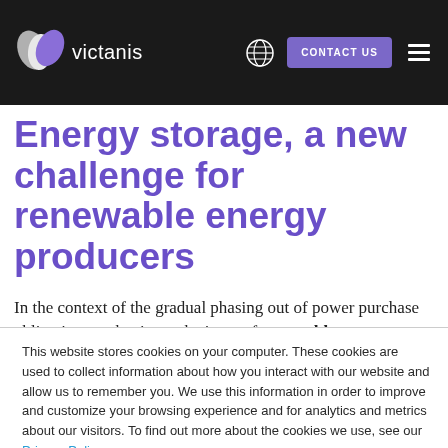[Figure (logo): Victanis logo with stylized shield/leaf icon in gray and purple, with text 'victanis' in white]
Energy storage, a new challenge for renewable energy producers
In the context of the gradual phasing out of power purchase obligation mechanisms, the issue of renewable energy storage places
This website stores cookies on your computer. These cookies are used to collect information about how you interact with our website and allow us to remember you. We use this information in order to improve and customize your browsing experience and for analytics and metrics about our visitors. To find out more about the cookies we use, see our Privacy Policy.